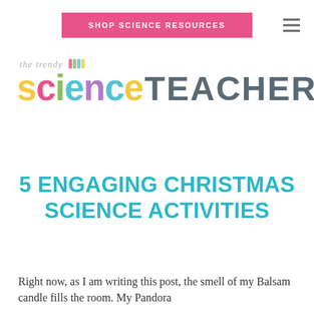SHOP SCIENCE RESOURCES
[Figure (logo): The Trendy Science Teacher logo with colorful 'science' letters and gray 'TEACHER' text]
5 ENGAGING CHRISTMAS SCIENCE ACTIVITIES
Right now, as I am writing this post, the smell of my Balsam candle fills the room. My Pandora